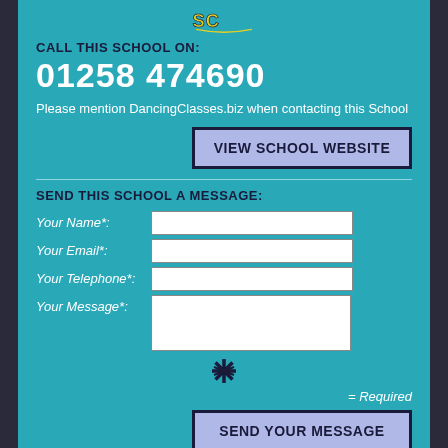[Figure (logo): DancingClasses.biz logo with colorful letters]
CALL THIS SCHOOL ON:
01258 474690
Please mention DancingClasses.biz when contacting this School
VIEW SCHOOL WEBSITE
SEND THIS SCHOOL A MESSAGE:
Your Name*:
Your Email*:
Your Telephone*:
Your Message*:
[Figure (other): Starburst/asterisk symbol]
= Required
SEND YOUR MESSAGE